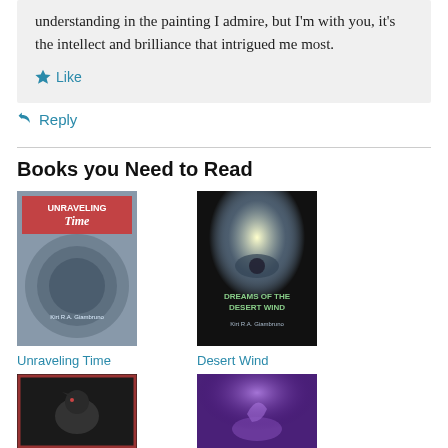understanding in the painting I admire, but I'm with you, it's the intellect and brilliance that intrigued me most.
★ Like
↪ Reply
Books you Need to Read
[Figure (illustration): Book cover for 'Unraveling Time']
Unraveling Time
[Figure (illustration): Book cover for 'Desert Wind']
Desert Wind
[Figure (illustration): Book cover with a crow/raven on dark background]
[Figure (illustration): Book cover with purple/blue tones]